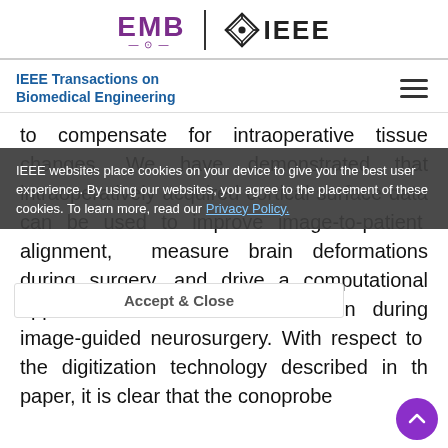[Figure (logo): EMB | IEEE logo header with purple EMB text and IEEE diamond logo]
IEEE Transactions on Biomedical Engineering
to compensate for intraoperative tissue changes. We have demonstrated that intraoperatively acquired cortical surface data can be used to improve image-to-patient alignment, measure brain deformations during surgery, and drive a computational approach to brain shift correction during image-guided neurosurgery. With respect to the digitization technology described in the paper, it is clear that the conoprobe
IEEE websites place cookies on your device to give you the best user experience. By using our websites, you agree to the placement of these cookies. To learn more, read our Privacy Policy.
Accept & Close